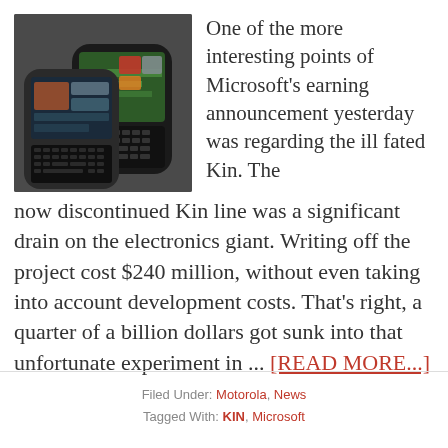[Figure (photo): Two Microsoft Kin smartphones with physical QWERTY keyboards, shown from an angle, one displaying a colorful social media-style screen.]
One of the more interesting points of Microsoft's earning announcement yesterday was regarding the ill fated Kin. The now discontinued Kin line was a significant drain on the electronics giant. Writing off the project cost $240 million, without even taking into account development costs. That's right, a quarter of a billion dollars got sunk into that unfortunate experiment in ... [READ MORE...]
Filed Under: Motorola, News
Tagged With: KIN, Microsoft